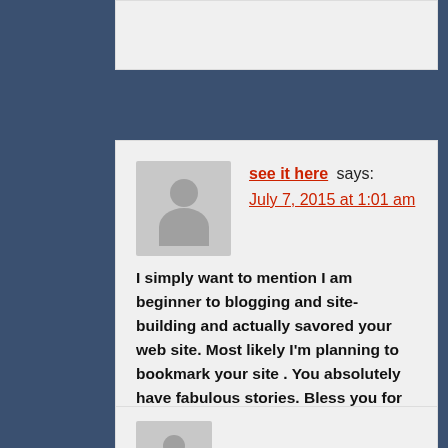see it here says: July 7, 2015 at 1:01 am
I simply want to mention I am beginner to blogging and site-building and actually savored your web site. Most likely I'm planning to bookmark your site . You absolutely have fabulous stories. Bless you for revealing your website page.
Reply
AshlynCJerauld says: